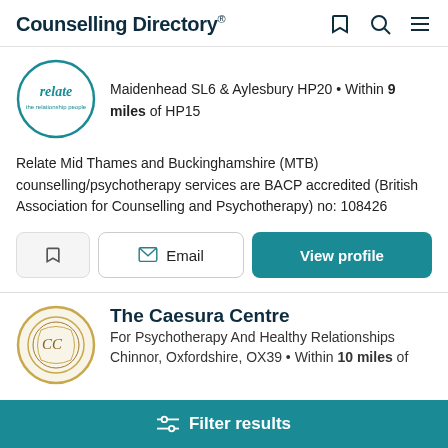Counselling Directory
[Figure (logo): Relate - the relationship people logo, circular with teal border]
Maidenhead SL6 & Aylesbury HP20 • Within 9 miles of HP15
Relate Mid Thames and Buckinghamshire (MTB) counselling/psychotherapy services are BACP accredited (British Association for Counselling and Psychotherapy) no: 108426
Email | View profile
[Figure (logo): The Caesura Centre logo, circular gold ornate frame with CC initials]
The Caesura Centre
For Psychotherapy And Healthy Relationships
Chinnor, Oxfordshire, OX39 • Within 10 miles of
Filter results